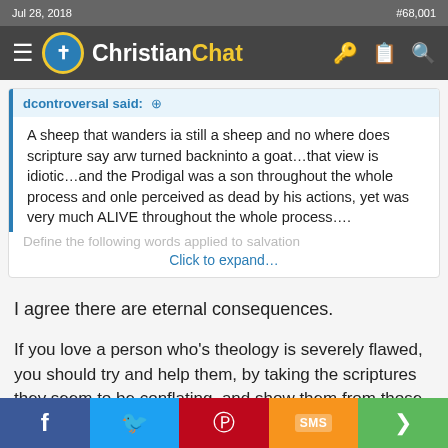Jul 28, 2018   #68,001
[Figure (screenshot): Christian Chat website navigation bar with logo, hamburger menu, and icons]
dcontroversal said: +
A sheep that wanders ia still a sheep and no where does scripture say arw turned backninto a goat...that view is idiotic...and the Prodigal was a son throughout the whole process and onle perceived as dead by his actions, yet was very much ALIVE throughout the whole process....
Define the following words applied to salvation
Click to expand...
I agree there are eternal consequences.
If you love a person who’s theology is severely flawed, you should try and help them, by taking the scriptures they seem to be conflating, and show them from those
[Figure (screenshot): Social share bar with Facebook, Twitter, Pinterest, SMS, and share buttons]